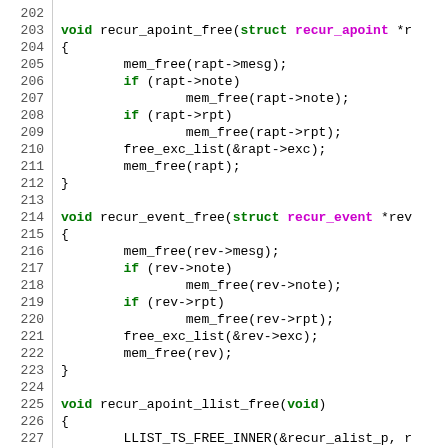Source code listing lines 202-228: C functions recur_apoint_free, recur_event_free, recur_apoint_llist_free